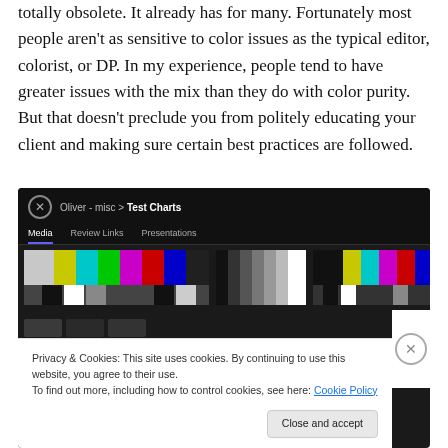totally obsolete. It already has for many. Fortunately most people aren't as sensitive to color issues as the typical editor, colorist, or DP. In my experience, people tend to have greater issues with the mix than they do with color purity. But that doesn't preclude you from politely educating your client and making sure certain best practices are followed.
[Figure (screenshot): Screenshot of a video review platform (Oliver) showing 'Test Charts' page with color bar test chart thumbnails. A cookie consent overlay is visible at the bottom: 'Privacy & Cookies: This site uses cookies. By continuing to use this website, you agree to their use. To find out more, including how to control cookies, see here: Cookie Policy' with a 'Close and accept' button.]